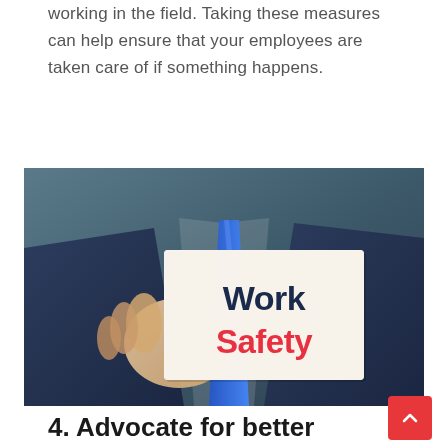working in the field. Taking these measures can help ensure that your employees are taken care of if something happens.
[Figure (photo): A businessman in a suit holding a white card that reads 'Work Safety' in bold text — 'Work' in dark navy and 'Safety' in red.]
4. Advocate for better working conditions